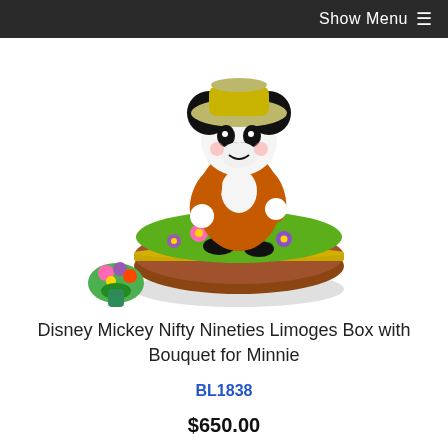Show Menu ≡
[Figure (photo): A Disney Mickey Mouse Nifty Nineties Limoges porcelain box. Mickey Mouse figurine dressed in an orange suit and tan hat, standing on a round green base decorated with colorful flowers, with a brown wood-grain trim and gold clasp. A small bouquet of flowers sits beside the base on the left.]
Disney Mickey Nifty Nineties Limoges Box with Bouquet for Minnie
BL1838
$650.00